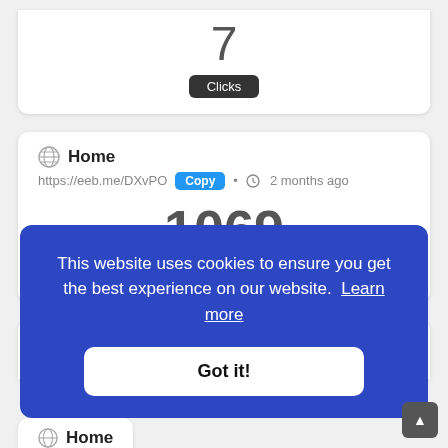7 Clicks
Home
https://eeb.me/DXvPO • Copy • 2 months ago
1069 Clicks
This website uses cookies to ensure you get the best experience on our website. Learn more
Got it!